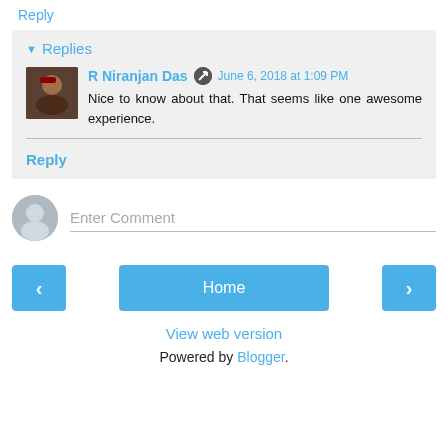Reply
Replies
R Niranjan Das   June 6, 2018 at 1:09 PM
Nice to know about that. That seems like one awesome experience.
Reply
Enter Comment
Home
View web version
Powered by Blogger.